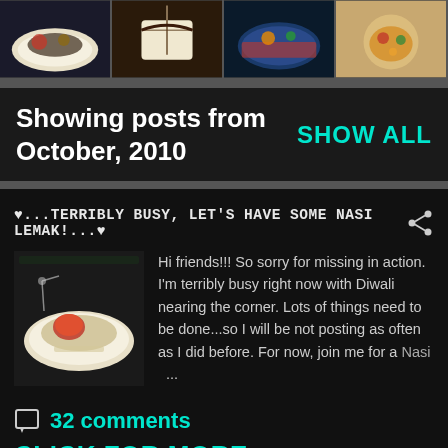[Figure (photo): Strip of four food photos showing various dishes]
Showing posts from October, 2010
SHOW ALL
♥...TERRIBLY BUSY, LET'S HAVE SOME NASI LEMAK!...♥
Hi friends!!! So sorry for missing in action. I'm terribly busy right now with Diwali nearing the corner. Lots of things need to be done...so I will be not posting as often as I did before. For now, join me for a Nasi ...
32 comments
CLICK FOR MORE